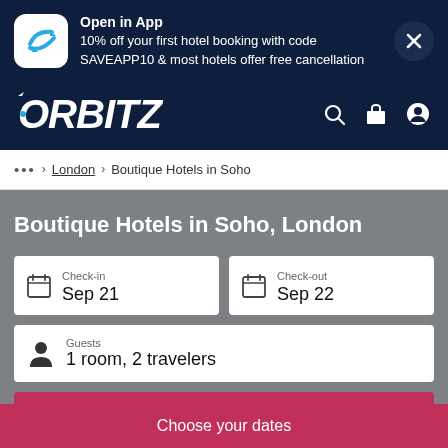[Figure (screenshot): Orbitz app promotion banner with app icon, promotional text, and close button]
Open in App
10% off your first hotel booking with code SAVEAPP10 & most hotels offer free cancellation
[Figure (logo): Orbitz logo in white italic font on dark navy background, with search, briefcase, and account icons]
... > London > Boutique Hotels in Soho
Boutique Hotels in Soho, London
Check-in
Sep 21
Check-out
Sep 22
Guests
1 room, 2 travelers
Search
Choose your dates